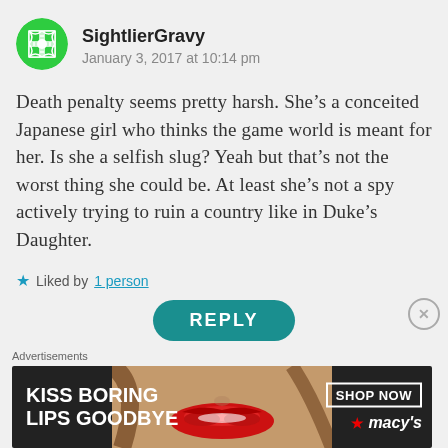[Figure (illustration): Green circular avatar with geometric pattern for user SightlierGravy]
SightlierGravy
January 3, 2017 at 10:14 pm
Death penalty seems pretty harsh. She’s a conceited Japanese girl who thinks the game world is meant for her. Is she a selfish slug? Yeah but that’s not the worst thing she could be. At least she’s not a spy actively trying to ruin a country like in Duke’s Daughter.
★ Liked by 1 person
REPLY
Advertisements
[Figure (illustration): Macy's advertisement banner: KISS BORING LIPS GOODBYE with woman's face and red lips, SHOP NOW button and Macy's star logo]